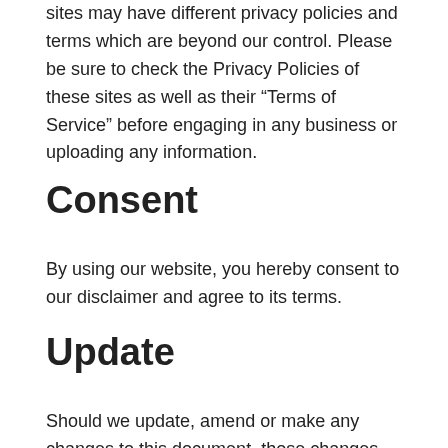sites may have different privacy policies and terms which are beyond our control. Please be sure to check the Privacy Policies of these sites as well as their “Terms of Service” before engaging in any business or uploading any information.
Consent
By using our website, you hereby consent to our disclaimer and agree to its terms.
Update
Should we update, amend or make any changes to this document, those changes will be prominently posted here.